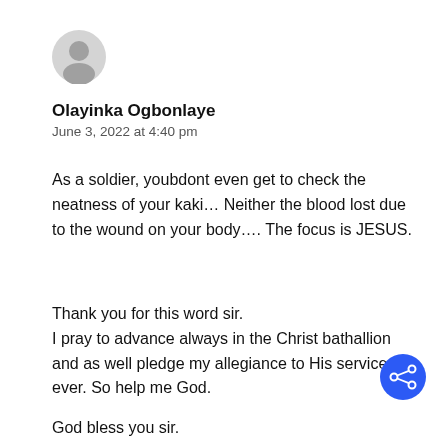[Figure (illustration): Generic grey user avatar circle icon]
Olayinka Ogbonlaye
June 3, 2022 at 4:40 pm
As a soldier, youbdont even get to check the neatness of your kaki… Neither the blood lost due to the wound on your body…. The focus is JESUS.
Thank you for this word sir.
I pray to advance always in the Christ bathallion and as well pledge my allegiance to His service for ever. So help me God.
God bless you sir.
[Figure (illustration): Blue circular share button with share icon]